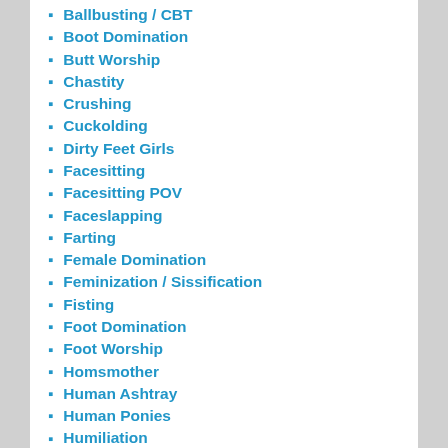Ballbusting / CBT
Boot Domination
Butt Worship
Chastity
Crushing
Cuckolding
Dirty Feet Girls
Facesitting
Facesitting POV
Faceslapping
Farting
Female Domination
Feminization / Sissification
Fisting
Foot Domination
Foot Worship
Homsmother
Human Ashtray
Human Ponies
Humiliation
Jeans Facesitting
Kicking